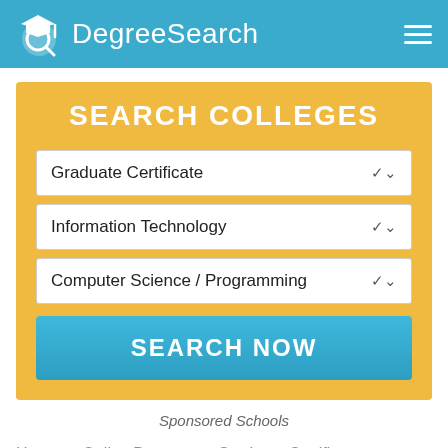DegreeSearch
SEARCH COLLEGES
Graduate Certificate
Information Technology
Computer Science / Programming
SEARCH NOW
Sponsored Schools
Home » Online Degrees » Graduate Certificates »